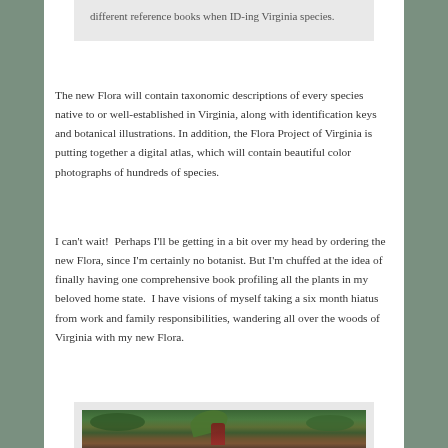different reference books when ID-ing Virginia species.
The new Flora will contain taxonomic descriptions of every species native to or well-established in Virginia, along with identification keys and botanical illustrations. In addition, the Flora Project of Virginia is putting together a digital atlas, which will contain beautiful color photographs of hundreds of species.
I can't wait!  Perhaps I'll be getting in a bit over my head by ordering the new Flora, since I'm certainly no botanist. But I'm chuffed at the idea of finally having one comprehensive book profiling all the plants in my beloved home state.  I have visions of myself taking a six month hiatus from work and family responsibilities, wandering all over the woods of Virginia with my new Flora.
[Figure (photo): A nature photograph showing green moss and foliage on the forest floor, with what appears to be a plant or mushroom visible among the vegetation.]